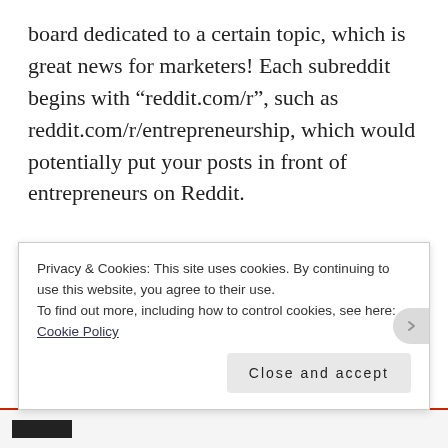board dedicated to a certain topic, which is great news for marketers! Each subreddit begins with “reddit.com/r”, such as reddit.com/r/entrepreneurship, which would potentially put your posts in front of entrepreneurs on Reddit.

Reddit also enables you to reverse engineer your messaging by giving you the ability to do a search to see which posts have done well on Reddit for the subreddit group you’re looking to target. To Go to the search bar in Reddit and type in “Site: DomainName.com.” What you
Privacy & Cookies: This site uses cookies. By continuing to use this website, you agree to their use.
To find out more, including how to control cookies, see here: Cookie Policy
Close and accept